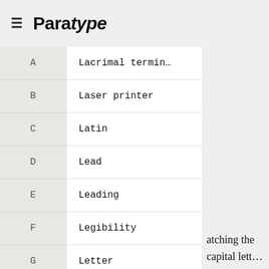≡ Paratype
A  Lacrimal termin…
B  Laser printer
C  Latin
D  Lead
E  Leading
F  Legibility
G  Letter
H  Letterform
I  Lettering
J  Letterpress
K  Letterspacing
L  Ligature
atching the capital lett…
out some lining figures.
site of old style figures.
…nd the loop of the lows…